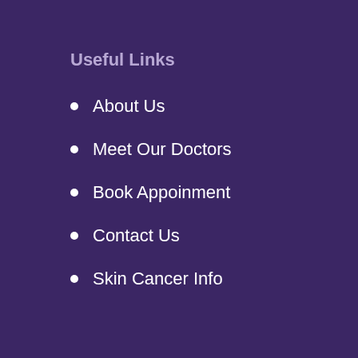Useful Links
About Us
Meet Our Doctors
Book Appoinment
Contact Us
Skin Cancer Info